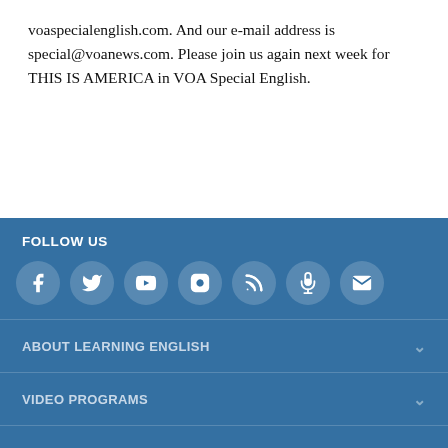voaspecialenglish.com. And our e-mail address is special@voanews.com. Please join us again next week for THIS IS AMERICA in VOA Special English.
FOLLOW US
[Figure (infographic): Row of 7 social media icons (Facebook, Twitter, YouTube, Instagram, RSS, Podcast, Email) as white icons in circular backgrounds on blue footer]
ABOUT LEARNING ENGLISH
VIDEO PROGRAMS
AUDIO PROGRAMS